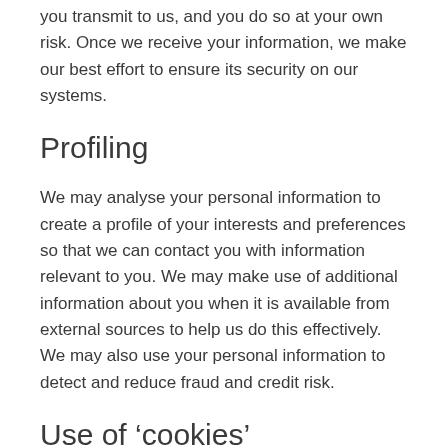you transmit to us, and you do so at your own risk. Once we receive your information, we make our best effort to ensure its security on our systems.
Profiling
We may analyse your personal information to create a profile of your interests and preferences so that we can contact you with information relevant to you. We may make use of additional information about you when it is available from external sources to help us do this effectively. We may also use your personal information to detect and reduce fraud and credit risk.
Use of ‘cookies’